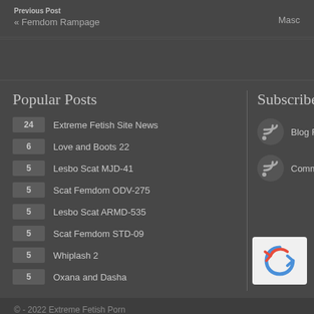Previous Post
« Femdom Rampage
Masc
Popular Posts
24 Extreme Fetish Site News
6 Love and Boots 22
5 Lesbo Scat MJD-41
5 Scat Femdom ODV-275
5 Lesbo Scat ARMD-535
5 Scat Femdom STD-09
5 Whiplash 2
5 Oxana and Dasha
Subscribe T
Blog RSS
Comments
© - 2022 Extreme Fetish Porn
Black Tribe designed by Premium Wordpress